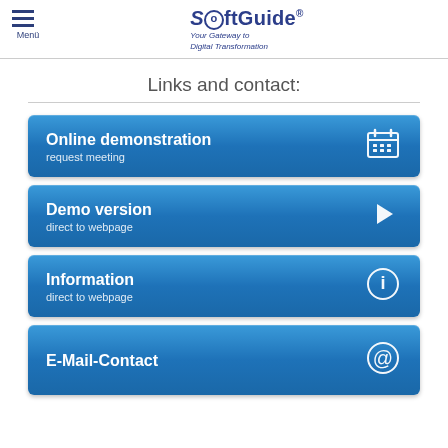Menü | SoftGuide® Your Gateway to Digital Transformation
Links and contact:
Online demonstration — request meeting
Demo version — direct to webpage
Information — direct to webpage
E-Mail-Contact